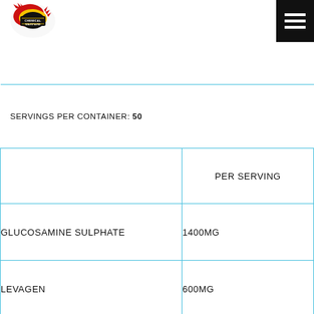[Figure (logo): Chemical Warfare brand logo with red/yellow/black design]
|  | PER SERVING |
| --- | --- |
| GLUCOSAMINE SULPHATE | 1400MG |
| LEVAGEN | 600MG |
| BOSWELLIA | 500MG |